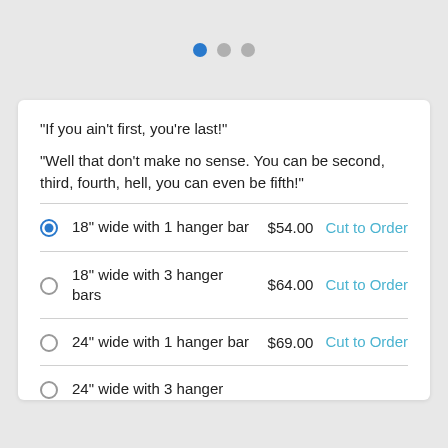[Figure (other): Pagination dots: one blue active dot and two grey inactive dots]
"If you ain't first, you're last!"
"Well that don't make no sense. You can be second, third, fourth, hell, you can even be fifth!"
18" wide with 1 hanger bar  $54.00  Cut to Order
18" wide with 3 hanger bars  $64.00  Cut to Order
24" wide with 1 hanger bar  $69.00  Cut to Order
24" wide with 3 hanger...  Cut to Order